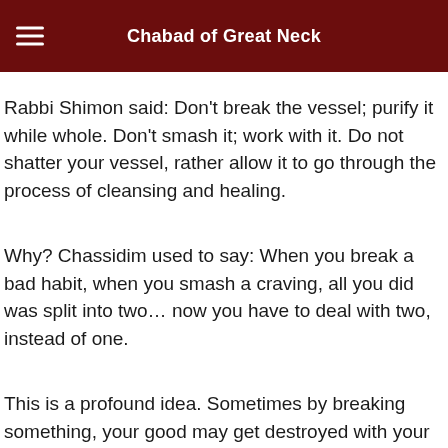Chabad of Great Neck
Rabbi Shimon said: Don't break the vessel; purify it while whole. Don't smash it; work with it. Do not shatter your vessel, rather allow it to go through the process of cleansing and healing.
Why? Chassidim used to say: When you break a bad habit, when you smash a craving, all you did was split into two… now you have to deal with two, instead of one.
This is a profound idea. Sometimes by breaking something, your good may get destroyed with your bad.